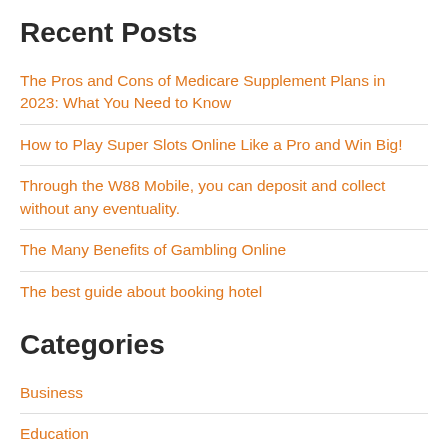Recent Posts
The Pros and Cons of Medicare Supplement Plans in 2023: What You Need to Know
How to Play Super Slots Online Like a Pro and Win Big!
Through the W88 Mobile, you can deposit and collect without any eventuality.
The Many Benefits of Gambling Online
The best guide about booking hotel
Categories
Business
Education
Entertainment